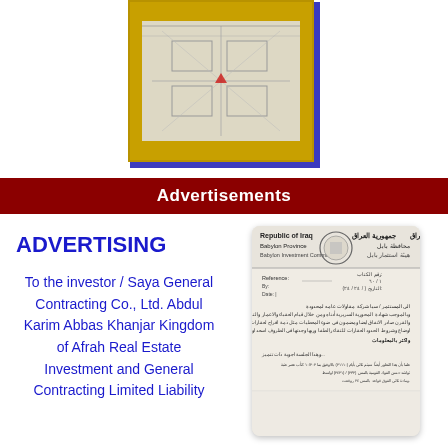[Figure (illustration): Architectural or engineering sketch/drawing shown inside a yellow-bordered frame with blue shadow border]
Advertisements
ADVERTISING
To the investor / Saya General Contracting Co., Ltd. Abdul Karim Abbas Khanjar Kingdom of Afrah Real Estate Investment and General Contracting Limited Liability
[Figure (photo): Official document from Republic of Iraq, Babylon Province, Babylon Investment Commission, showing Arabic and English text with official seal]